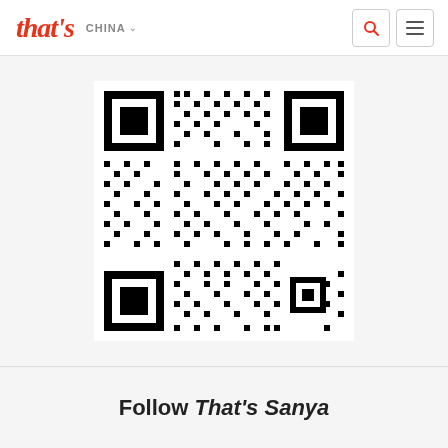that's CHINA
[Figure (other): QR code image — a WeChat or similar QR code with three corner finder squares and dense dot pattern data modules]
Follow That's Sanya